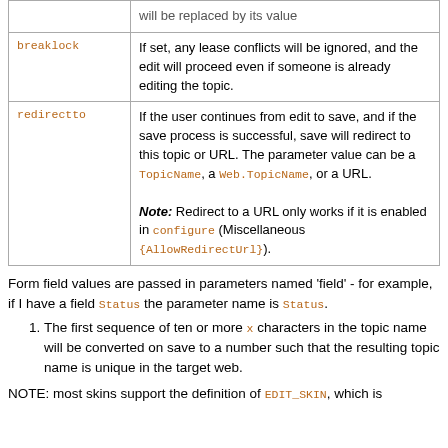| Parameter | Description |
| --- | --- |
| breaklock | If set, any lease conflicts will be ignored, and the edit will proceed even if someone is already editing the topic. |
| redirectto | If the user continues from edit to save, and if the save process is successful, save will redirect to this topic or URL. The parameter value can be a TopicName, a Web.TopicName, or a URL. Note: Redirect to a URL only works if it is enabled in configure (Miscellaneous {AllowRedirectUrl}). |
Form field values are passed in parameters named 'field' - for example, if I have a field Status the parameter name is Status.
The first sequence of ten or more x characters in the topic name will be converted on save to a number such that the resulting topic name is unique in the target web.
NOTE: most skins support the definition of EDIT_SKIN, which is